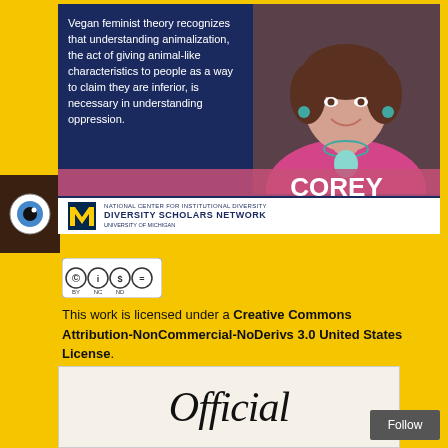[Figure (infographic): Blue panel with quote about vegan feminist theory and animalization, with a photo of Corey Wrenn (woman with short brown hair, pink top, teal necklace), her name in white bold text, and a University of Michigan Diversity Scholars Network logo bar at the bottom.]
[Figure (logo): Creative Commons Attribution-NonCommercial-NoDerivs license badge with CC BY NC ND icons in a row.]
This work is licensed under a Creative Commons Attribution-NonCommercial-NoDerivs 3.0 United States License.
[Figure (photo): Partial view of a book or publication cover showing the word 'Official' in large italic serif font, with a Follow button in the lower right corner.]